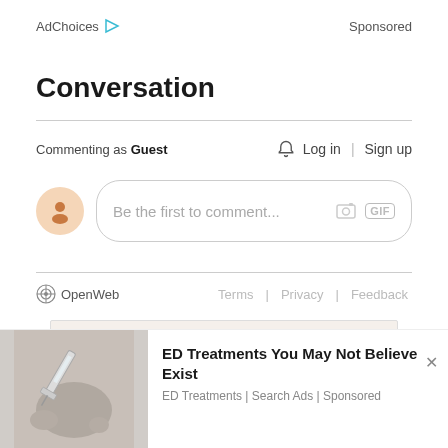AdChoices ▷   Sponsored
Conversation
Commenting as Guest    🔔 Log in | Sign up
[Figure (screenshot): Comment input box with placeholder text 'Be the first to comment...' and camera/GIF icons]
OpenWeb   Terms | Privacy | Feedback
[Figure (screenshot): Advertisement banner showing 'Until there's' in large serif italic text on light beige background]
[Figure (screenshot): Bottom ad overlay: hand holding syringe image with text 'ED Treatments You May Not Believe Exist' and 'ED Treatments | Search Ads | Sponsored']